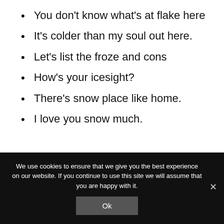You don't know what's at flake here
It's colder than my soul out here.
Let's list the froze and cons
How's your icesight?
There's snow place like home.
I love you snow much.
We use cookies to ensure that we give you the best experience on our website. If you continue to use this site we will assume that you are happy with it.
Ok